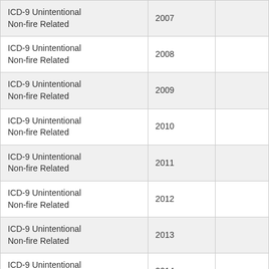| ICD-9 Unintentional Non-fire Related | 2007 |  |
| ICD-9 Unintentional Non-fire Related | 2008 |  |
| ICD-9 Unintentional Non-fire Related | 2009 |  |
| ICD-9 Unintentional Non-fire Related | 2010 |  |
| ICD-9 Unintentional Non-fire Related | 2011 |  |
| ICD-9 Unintentional Non-fire Related | 2012 |  |
| ICD-9 Unintentional Non-fire Related | 2013 |  |
| ICD-9 Unintentional Non-fire Related | 2014 |  |
| ICD-9 Unintentional Non-fire Related | 2015 |  |